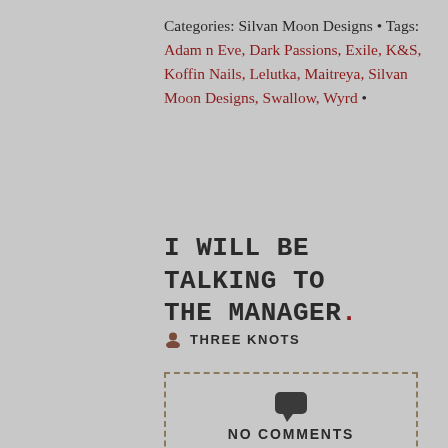Categories: Silvan Moon Designs • Tags: Adam n Eve, Dark Passions, Exile, K&S, Koffin Nails, Lelutka, Maitreya, Silvan Moon Designs, Swallow, Wyrd •
I WILL BE TALKING TO THE MANAGER.
THREE KNOTS
NO COMMENTS
AUGUST 27, 2020